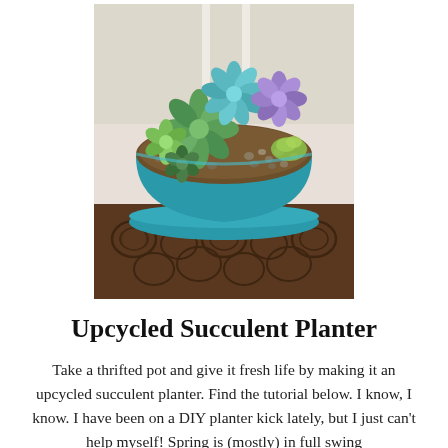[Figure (photo): A turquoise/teal painted succulent planter bowl filled with various succulents and decorative pebbles, sitting on an ornate dark wooden table with carved heart/scroll patterns.]
Upcycled Succulent Planter
Take a thrifted pot and give it fresh life by making it an upcycled succulent planter. Find the tutorial below. I know, I know. I have been on a DIY planter kick lately, but I just can't help myself! Spring is (mostly) in full swing